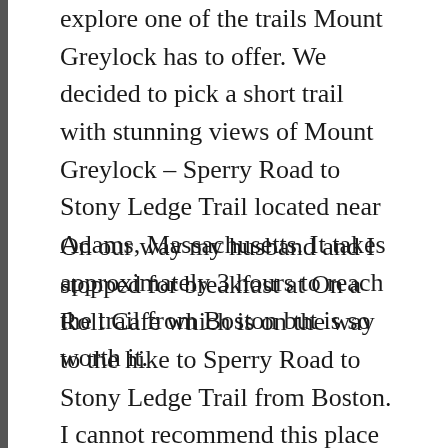explore one of the trails Mount Greylock has to offer. We decided to pick a short trail with stunning views of Mount Greylock – Sperry Road to Stony Ledge Trail located near Adams, Massachusetts. It takes approximately 3 hours to reach the trail from Boston but is so worth it.
On our way my husband and I stopped for breakfast at On a Roll Cafe which is on the way to the hike to Sperry Road to Stony Ledge Trail from Boston. I cannot recommend this place enough. The food is amazing and the outdoor seating is absolutely amazing to soak in the summer with the lush greenery and a small manmade pond around it. We got the Lemon Ricotta Pancakes, Breakfast Burrito, a side of home cut fries and some juice and they were delicious. At the corner there is an Antique store called Route 7 Trading